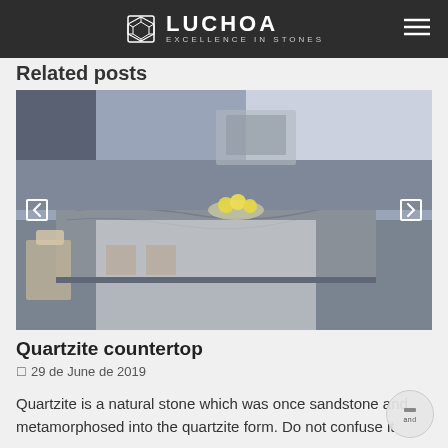LUCHOA EXCELLENCE IN STONES
Related posts
[Figure (photo): Kitchen interior with grey quartzite stone countertop island and matching backsplash, white cabinetry, bar stools, bowl of lemons on counter]
Quartzite countertop
29 de June de 2019
Quartzite is a natural stone which was once sandstone and metamorphosed into the quartzite form. Do not confuse it